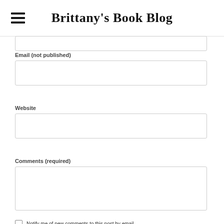Brittany's Book Blog
Email (not published)
Website
Comments (required)
Notify me of new comments to this post by email